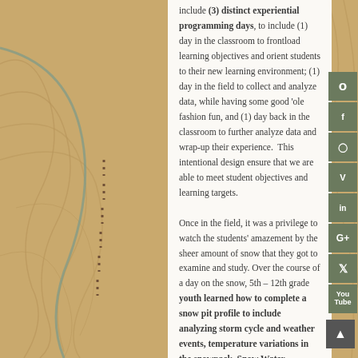include (3) distinct experiential programming days, to include (1) day in the classroom to frontload learning objectives and orient students to their new learning environment; (1) day in the field to collect and analyze data, while having some good 'ole fashion fun, and (1) day back in the classroom to further analyze data and wrap-up their experience. This intentional design ensure that we are able to meet student objectives and learning targets.

Once in the field, it was a privilege to watch the students' amazement by the sheer amount of snow that they got to examine and study. Over the course of a day on the snow, 5th – 12th grade youth learned how to complete a snow pit profile to include analyzing storm cycle and weather events, temperature variations in the snowpack, Snow Water Equivalency (SWE), density and hardness of the snowpack. In addition, they were able to
[Figure (other): Social media sidebar icons: Facebook, Instagram, Vimeo, LinkedIn, Google+, Twitter, YouTube]